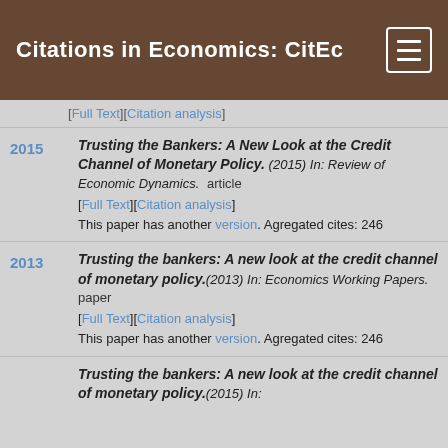Citations in Economics: CitEc
[Full Text][Citation analysis]
2015 — Trusting the Bankers: A New Look at the Credit Channel of Monetary Policy. (2015) In: Review of Economic Dynamics. article [Full Text][Citation analysis] This paper has another version. Agregated cites: 246
2013 — Trusting the bankers: A new look at the credit channel of monetary policy.(2013) In: Economics Working Papers. paper [Full Text][Citation analysis] This paper has another version. Agregated cites: 246
Trusting the bankers: A new look at the credit channel of monetary policy.(2015) In: